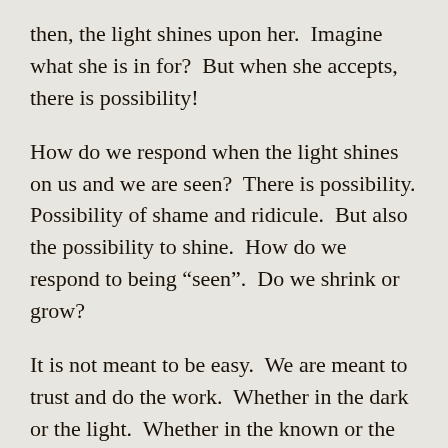then, the light shines upon her.  Imagine what she is in for?  But when she accepts, there is possibility!
How do we respond when the light shines on us and we are seen?  There is possibility.  Possibility of shame and ridicule.  But also the possibility to shine.  How do we respond to being “seen”.  Do we shrink or grow?
It is not meant to be easy.  We are meant to trust and do the work.  Whether in the dark or the light.  Whether in the known or the unknown.